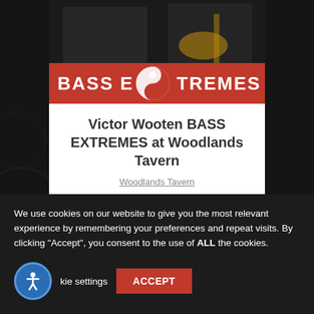[Figure (photo): Bass Extremes band promotional image with musicians playing bass guitars, featuring a red and black banner with 'BASS EXTREMES' text logo]
Victor Wooten BASS EXTREMES at Woodlands Tavern
Woodlands Tavern
We use cookies on our website to give you the most relevant experience by remembering your preferences and repeat visits. By clicking "Accept", you consent to the use of ALL the cookies.
Cookie settings
ACCEPT